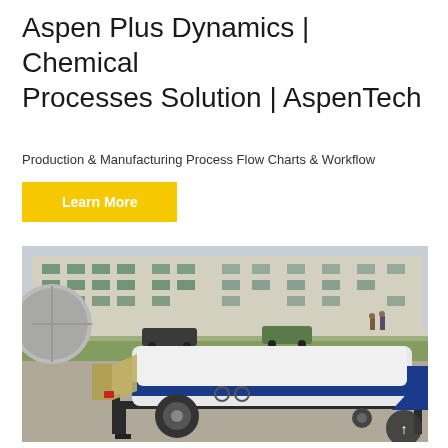Aspen Plus Dynamics | Chemical Processes Solution | AspenTech
Production & Manufacturing Process Flow Charts & Workflow
Learn More
[Figure (photo): Industrial concrete pump machine on a trailer with white and blue casing, parked in front of a large building. A large drum mixer is visible on the left side.]